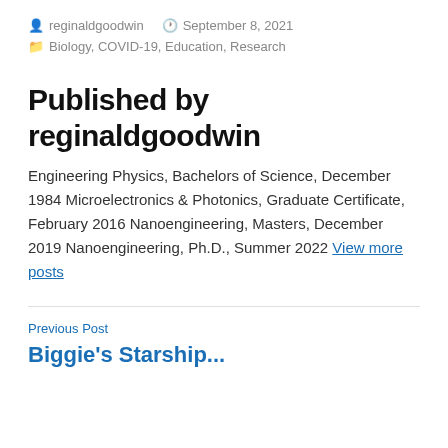reginaldgoodwin   September 8, 2021
Biology, COVID-19, Education, Research
Published by reginaldgoodwin
Engineering Physics, Bachelors of Science, December 1984 Microelectronics & Photonics, Graduate Certificate, February 2016 Nanoengineering, Masters, December 2019 Nanoengineering, Ph.D., Summer 2022 View more posts
Previous Post
Biggie's Starship...